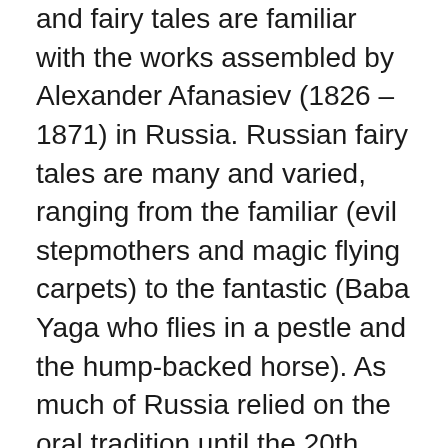and fairy tales are familiar with the works assembled by Alexander Afanasiev (1826 – 1871) in Russia. Russian fairy tales are many and varied, ranging from the familiar (evil stepmothers and magic flying carpets) to the fantastic (Baba Yaga who flies in a pestle and the hump-backed horse). As much of Russia relied on the oral tradition until the 20th century, the total number of Russian tales is one of the largest in Western literature. Afanasiev alone assembled over 600 tales in his multi-volume collection in the 1860s. Many of these tales influenced Russian literary tradition (Pushkin, Gogol, Tolstoy, and Dostoevsky), art (Vasnetsov, Bilibin, Vrubel, Roerikh, and Kandinsky), as well as classical works of Russian opera, ballet, and music (Rimsky-Korsakov, Tchaikovsky, Glinka, Mussorgsky, and Stravinsky). We will examine a variety of such works based on the themes and characters of Russian fairy tales, situating the folk fairy tales, collected and